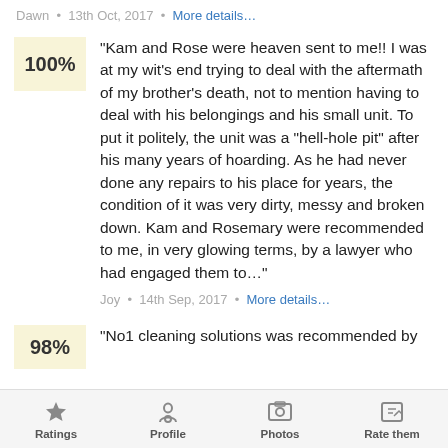Dawn • 13th Oct, 2017 • More details…
100%
"Kam and Rose were heaven sent to me!! I was at my wit's end trying to deal with the aftermath of my brother's death, not to mention having to deal with his belongings and his small unit. To put it politely, the unit was a "hell-hole pit" after his many years of hoarding. As he had never done any repairs to his place for years, the condition of it was very dirty, messy and broken down. Kam and Rosemary were recommended to me, in very glowing terms, by a lawyer who had engaged them to…"
Joy • 14th Sep, 2017 • More details…
98%
"No1 cleaning solutions was recommended by
Ratings   Profile   Photos   Rate them